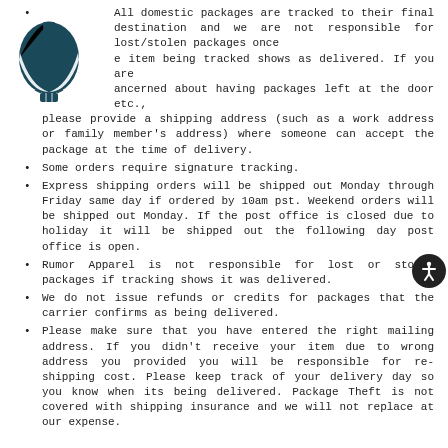[Figure (illustration): Hot air balloon icon in dark teal/navy color, decorative logo]
All domestic packages are tracked to their final destination and we are not responsible for lost/stolen packages once the item being tracked shows as delivered. If you are concerned about having packages left at the door etc., please provide a shipping address (such as a work address or family member's address) where someone can accept the package at the time of delivery.
Some orders require signature tracking.
Express shipping orders will be shipped out Monday through Friday same day if ordered by 10am pst. Weekend orders will be shipped out Monday. If the post office is closed due to holiday it will be shipped out the following day post office is open.
Rumor Apparel is not responsible for lost or stolen packages if tracking shows it was delivered.
We do not issue refunds or credits for packages that the carrier confirms as being delivered.
Please make sure that you have entered the right mailing address. If you didn't receive your item due to wrong address you provided you will be responsible for re-shipping cost. Please keep track of your delivery day so you know when its being delivered. Package Theft is not covered with shipping insurance and we will not replace at our expense.